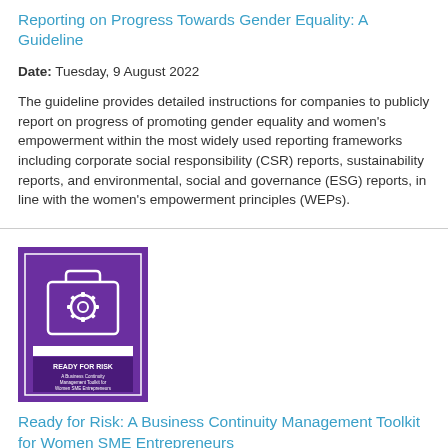Reporting on Progress Towards Gender Equality: A Guideline
Date: Tuesday, 9 August 2022
The guideline provides detailed instructions for companies to publicly report on progress of promoting gender equality and women's empowerment within the most widely used reporting frameworks including corporate social responsibility (CSR) reports, sustainability reports, and environmental, social and governance (ESG) reports, in line with the women's empowerment principles (WEPs).
[Figure (photo): Book cover with purple background showing a briefcase with a gear icon and text 'READY FOR RISK: A Business Continuity Management Toolkit for Women SME Entrepreneurs']
Ready for Risk: A Business Continuity Management Toolkit for Women SME Entrepreneurs
Date: Friday, 13 May 2022
The toolkit provides a grounding in risk control and business continuity, with particular reference to the COVID-19 pandemic